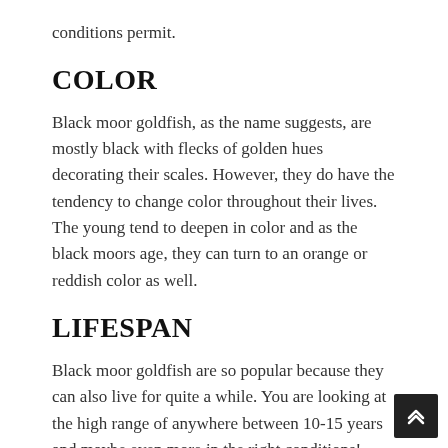conditions permit.
COLOR
Black moor goldfish, as the name suggests, are mostly black with flecks of golden hues decorating their scales. However, they do have the tendency to change color throughout their lives. The young tend to deepen in color and as the black moors age, they can turn to an orange or reddish color as well.
LIFESPAN
Black moor goldfish are so popular because they can also live for quite a while. You are looking at the high range of anywhere between 10-15 years and maybe even more in the right conditions!
DIET